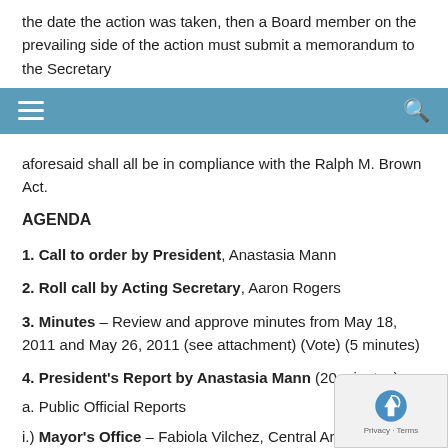the date the action was taken, then a Board member on the prevailing side of the action must submit a memorandum to the Secretary
aforesaid shall all be in compliance with the Ralph M. Brown Act.
AGENDA
1. Call to order by President, Anastasia Mann
2. Roll call by Acting Secretary, Aaron Rogers
3. Minutes – Review and approve minutes from May 18, 2011 and May 26, 2011 (see attachment) (Vote) (5 minutes)
4. President's Report by Anastasia Mann (20 minutes)
a. Public Official Reports
i.) Mayor's Office – Fabiola Vilchez, Central Area Director – Bud Survey